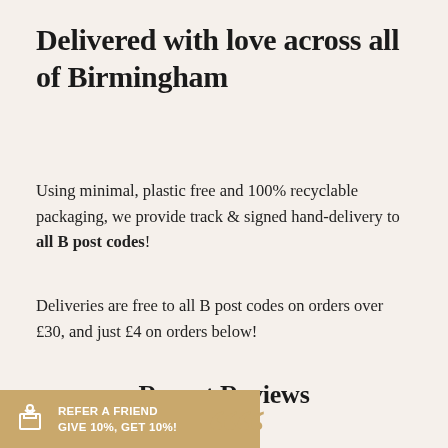Delivered with love across all of Birmingham
Using minimal, plastic free and 100% recyclable packaging, we provide track & signed hand-delivery to all B post codes!
Deliveries are free to all B post codes on orders over £30, and just £4 on orders below!
Recent Reviews
REFER A FRIEND GIVE 10%, GET 10%!